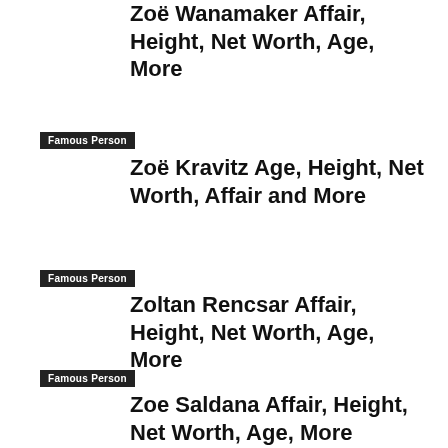Zoë Wanamaker Affair, Height, Net Worth, Age, More
Famous Person
Zoë Kravitz Age, Height, Net Worth, Affair and More
Famous Person
Zoltan Rencsar Affair, Height, Net Worth, Age, More
Famous Person
Zoe Saldana Affair, Height, Net Worth, Age, More